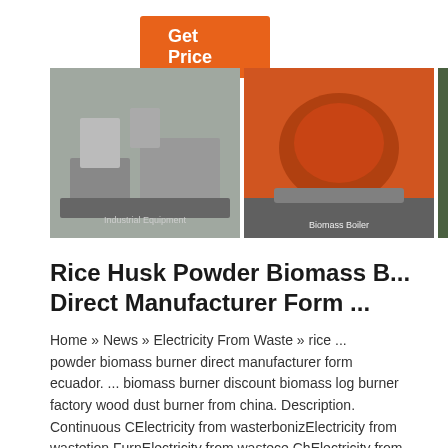[Figure (other): Orange 'Get Price' button]
[Figure (photo): Row of three industrial biomass boiler/burner photos and a customer service representative sidebar with '24/7 Online' text, 'Click here for free chat!' and 'QUOTATION' button]
Rice Husk Powder Biomass B... Direct Manufacturer Form ...
Home » News » Electricity From Waste » rice ... powder biomass burner direct manufacturer form ecuador. ... biomass burner discount biomass log burner factory wood dust burner from china. Description. Continuous CElectricity from wasterbonizElectricity from wastetion FurnElectricity from wastece ChElectricity from wastercoElectricity from ...